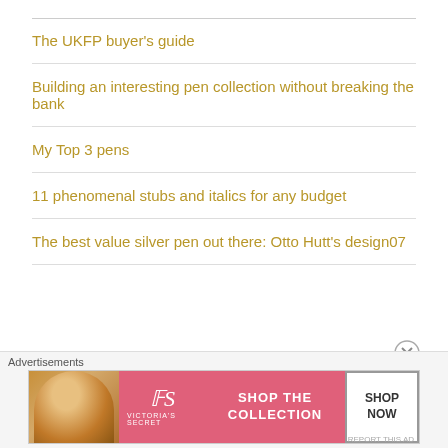The UKFP buyer's guide
Building an interesting pen collection without breaking the bank
My Top 3 pens
11 phenomenal stubs and italics for any budget
The best value silver pen out there: Otto Hutt's design07
[Figure (advertisement): Victoria's Secret advertisement banner with model photo, pink background, VS logo, 'SHOP THE COLLECTION' text, and 'SHOP NOW' white button]